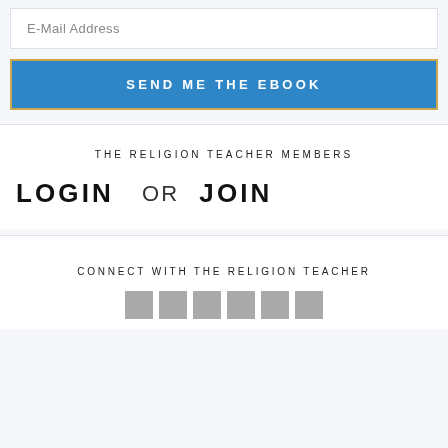E-Mail Address
SEND ME THE EBOOK
THE RELIGION TEACHER MEMBERS
LOGIN  OR  JOIN
CONNECT WITH THE RELIGION TEACHER
[Figure (other): Row of six social media icon squares in gray]